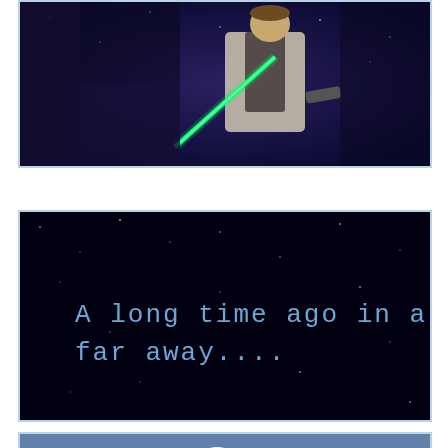[Figure (photo): Video game screenshot showing a character holding a green lightsaber and a gun against a dark blue/purple background — Star Wars game scene]
[Figure (screenshot): Dark space background with blue pixelated text reading 'A long time ago in a galaxy far, far away....']
[Figure (photo): Row of Stormtroopers from Star Wars against a blue-grey background]